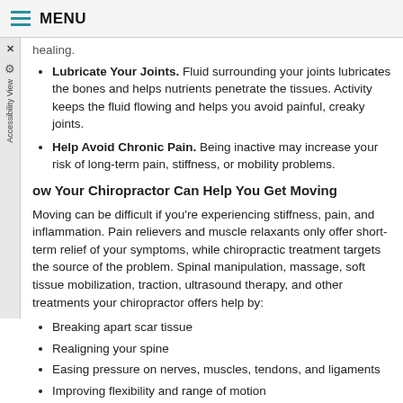MENU
healing.
Lubricate Your Joints. Fluid surrounding your joints lubricates the bones and helps nutrients penetrate the tissues. Activity keeps the fluid flowing and helps you avoid painful, creaky joints.
Help Avoid Chronic Pain. Being inactive may increase your risk of long-term pain, stiffness, or mobility problems.
How Your Chiropractor Can Help You Get Moving
Moving can be difficult if you're experiencing stiffness, pain, and inflammation. Pain relievers and muscle relaxants only offer short-term relief of your symptoms, while chiropractic treatment targets the source of the problem. Spinal manipulation, massage, soft tissue mobilization, traction, ultrasound therapy, and other treatments your chiropractor offers help by:
Breaking apart scar tissue
Realigning your spine
Easing pressure on nerves, muscles, tendons, and ligaments
Improving flexibility and range of motion
Decreasing inflammation
Relaxing tight muscles